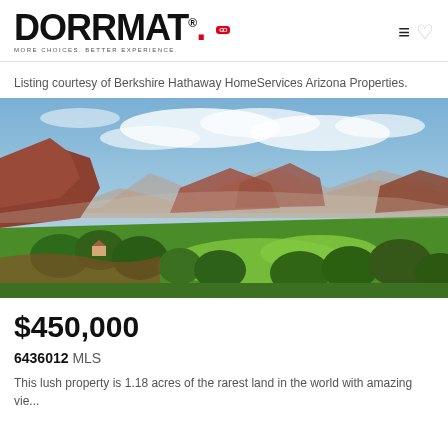DORRMAT. MORE CHOICES. BETTER EXPERIENCE.
Listing courtesy of Berkshire Hathaway HomeServices Arizona Properties.
[Figure (photo): Aerial landscape photo of Sedona, Arizona area showing lush green fields and trees in the foreground with red rock formations and mountains in the background under a partly cloudy sky.]
$450,000
6436012 MLS
This lush property is 1.18 acres of the rarest land in the world with amazing vie...